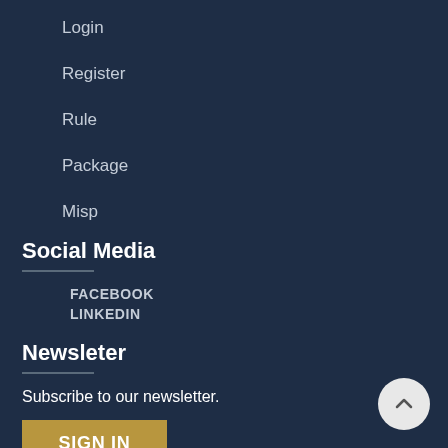Login
Register
Rule
Package
Misp
Social Media
FACEBOOK
LINKEDIN
Newsleter
Subscribe to our newsletter.
SIGN IN